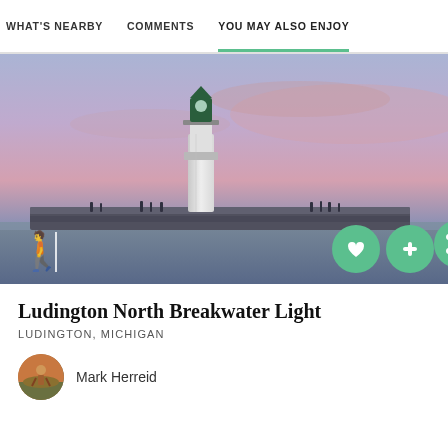WHAT'S NEARBY   COMMENTS   YOU MAY ALSO ENJOY
[Figure (photo): Photograph of Ludington North Breakwater Light lighthouse at dusk/twilight. A tall white lighthouse stands at the end of a long breakwater pier extending over calm water. The sky is purple-pink with soft sunset colors. Several people are visible walking on the pier. Green action buttons (heart, plus, share) are visible in the lower right corner of the image. A walking person icon is in the lower left.]
Ludington North Breakwater Light
LUDINGTON, MICHIGAN
Mark Herreid